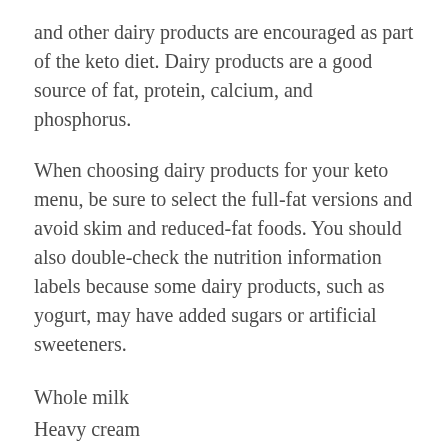and other dairy products are encouraged as part of the keto diet. Dairy products are a good source of fat, protein, calcium, and phosphorus.
When choosing dairy products for your keto menu, be sure to select the full-fat versions and avoid skim and reduced-fat foods. You should also double-check the nutrition information labels because some dairy products, such as yogurt, may have added sugars or artificial sweeteners.
Whole milk
Heavy cream
Butter, preferably from grass-fed cows
Cheddar cheese
Feta cheese